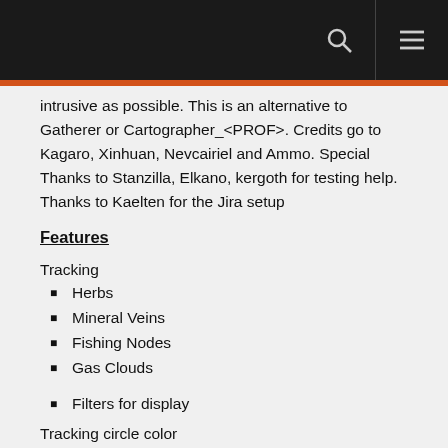intrusive as possible. This is an alternative to Gatherer or Cartographer_<PROF>. Credits go to Kagaro, Xinhuan, Nevcairiel and Ammo. Special Thanks to Stanzilla, Elkano, kergoth for testing help. Thanks to Kaelten for the Jira setup
Features
Tracking
Herbs
Mineral Veins
Fishing Nodes
Gas Clouds
Filters for display
Tracking circle color
Icon alpha and scaling
World Map and Minimap on/off
Data Importing